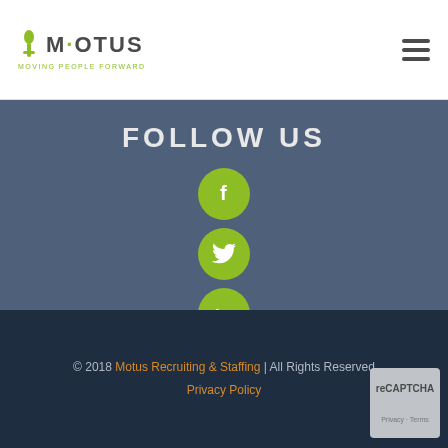MOTUS — Moving People Forward (logo) | Hamburger menu
FOLLOW US
[Figure (illustration): Four social media icon circles (Facebook, Twitter, LinkedIn, Instagram) in olive/yellow-green color arranged vertically on a slate-blue background]
© 2018 Motus Recruiting & Staffing | All Rights Reserved
Privacy Policy